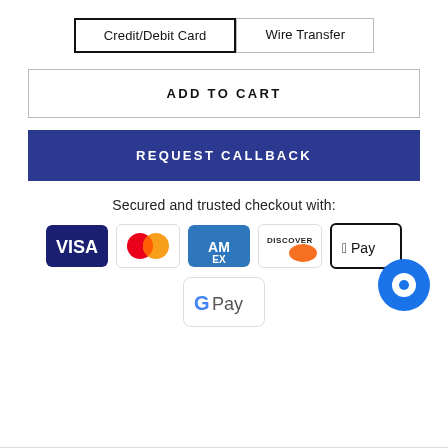Credit/Debit Card
Wire Transfer
ADD TO CART
REQUEST CALLBACK
Secured and trusted checkout with:
[Figure (infographic): Payment method logos: Visa, Mastercard, American Express, Discover, Apple Pay, Google Pay]
[Figure (illustration): Blue chat bubble icon in bottom-right corner]